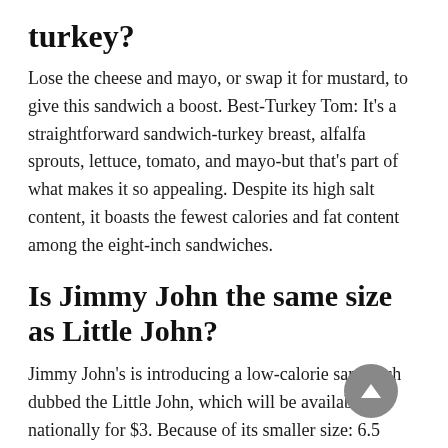turkey?
Lose the cheese and mayo, or swap it for mustard, to give this sandwich a boost. Best-Turkey Tom: It's a straightforward sandwich-turkey breast, alfalfa sprouts, lettuce, tomato, and mayo-but that's part of what makes it so appealing. Despite its high salt content, it boasts the fewest calories and fat content among the eight-inch sandwiches.
Is Jimmy John the same size as Little John?
Jimmy John's is introducing a low-calorie sandwich dubbed the Little John, which will be available nationally for $3. Because of its smaller size: 6.5 inches